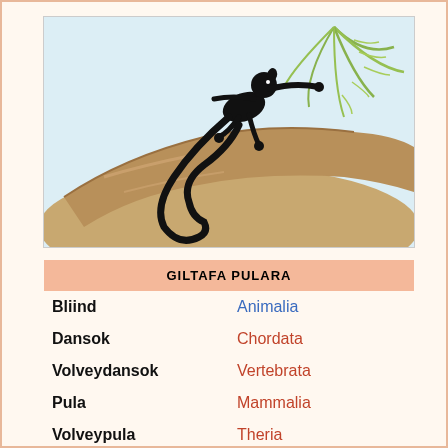[Figure (illustration): Vintage natural history illustration of a dark-colored primate (lemur or similar) climbing on a large sandy-brown tree branch, with green palm fronds in the background. The animal has a long black tail curling downward.]
| GILTAFA PULARA |  |
| --- | --- |
| Bliind | Animalia |
| Dansok | Chordata |
| Volveydansok | Vertebrata |
| Pula | Mammalia |
| Volveypula | Theria |
| Tolvolveypula | Eutheria |